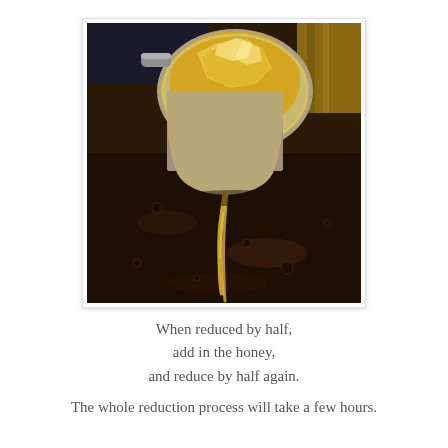[Figure (photo): A close-up photo of honey being poured from a measuring cup into a dark bubbling liquid in a pot. The honey appears crystallized and golden, drizzling down in a stream.]
When reduced by half, add in the honey, and reduce by half again.
The whole reduction process will take a few hours.